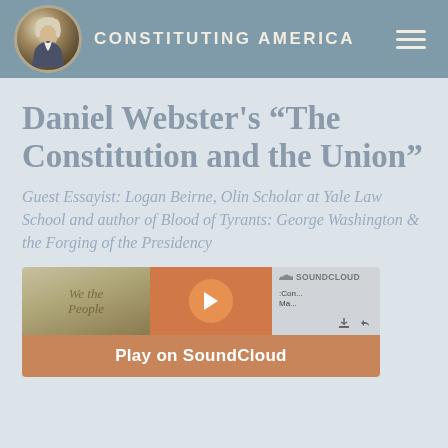CONSTITUTING AMERICA
Daniel Webster's “The Constitution and the Union”
Guest Essayist: Logan Beirne, Olin Scholar at Yale Law School and author of Blood of Tyrants: George Washington & the Forging of the Presidency
[Figure (screenshot): SoundCloud audio player embed showing a play button and 'Play on SoundCloud' label at the bottom]